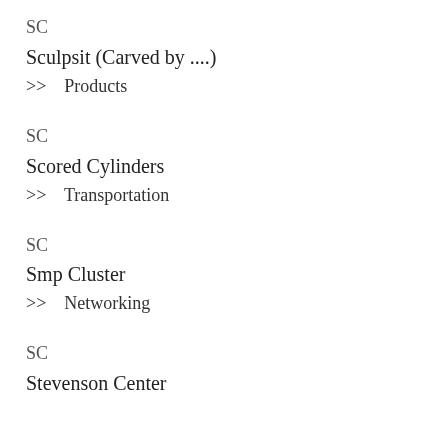SC
Sculpsit (Carved by ....)
>> Products
SC
Scored Cylinders
>> Transportation
SC
Smp Cluster
>> Networking
SC
Stevenson Center